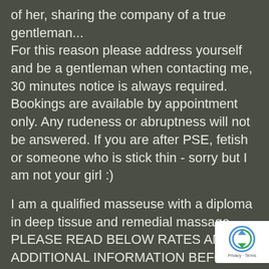of her, sharing the company of a true gentleman... For this reason please address yourself and be a gentleman when contacting me, 30 minutes notice is always required. Bookings are available by appointment only. Any rudeness or abruptness will not be answered. If you are after PSE, fetish or someone who is stick thin - sorry but I am not your girl :)
I am a qualified masseuse with a diploma in deep tissue and remedial massage. PLEASE READ BELOW RATES AND ADDITIONAL INFORMATION BEFORE CONTACTING ME :)
30mins
$100 Standard rub
$150 Deluxe rub